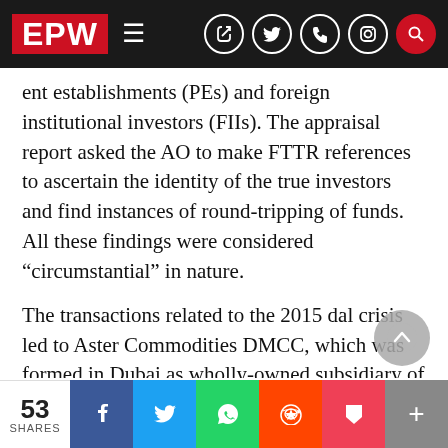EPW
ent establishments (PEs) and foreign institutional investors (FIIs). The appraisal report asked the AO to make FTTR references to ascertain the identity of the true investors and find instances of round-tripping of funds. All these findings were considered “circumstantial” in nature.
The transactions related to the 2015 dal crisis led to Aster Commodities DMCC, which was formed in Dubai as wholly-owned subsidiary of ECIL Mauritius, which in turn was a wholly-owned subsidiary of Edelweiss Financial Services Lim India. Aster was allegedly used to over-invoice
53 SHARES